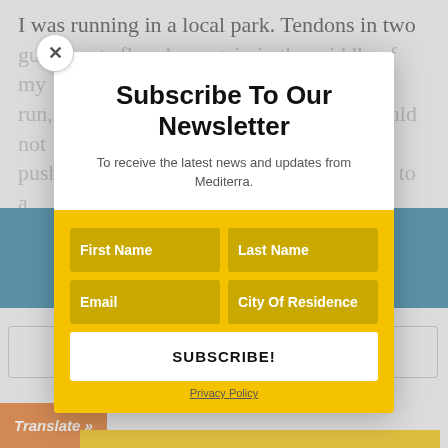I was running in a local park. Tendons in two regular spots flared up again in the middle of my run, and I knew from experience that I would not push past those warning signs. So I moved to a
We use cookies to optimize our website and our service.
Manage Cookie Consent
Subscribe To Our Newsletter
To receive the latest news and updates from Mediterra.
[Figure (other): Newsletter subscription form with fields for First Name, Last Name, Email, City Of Residence, and a SUBSCRIBE! button, on a yellow background]
Privacy Policy
Accept
Deny
Preferences
Translate »